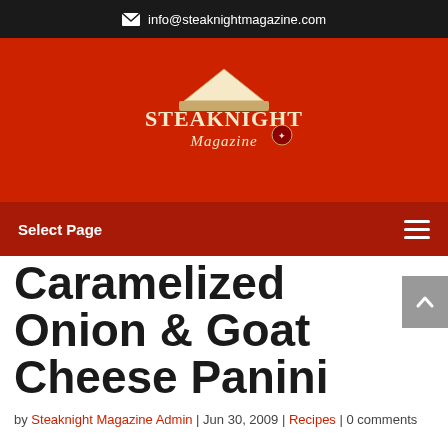✉ info@steaknightmagazine.com
[Figure (logo): Steaknight Magazine logo — stylized text on red background with decorative emblem]
Select Page
Caramelized Onion & Goat Cheese Panini
by Steaknight Magazine Admin | Jun 30, 2009 | Recipes | 0 comments
This recipe works great as a BBQ appetizer. I could